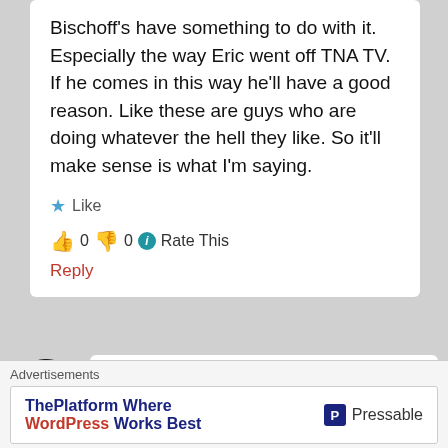Bischoff's have something to do with it. Especially the way Eric went off TNA TV. If he comes in this way he'll have a good reason. Like these are guys who are doing whatever the hell they like. So it'll make sense is what I'm saying.
★ Like
👍 0 👎 0 ℹ Rate This
Reply
TheTopRope
Advertisements
ThePlatform Where WordPress Works Best
Pressable